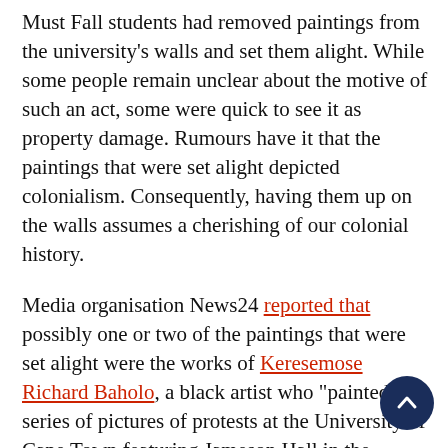Must Fall students had removed paintings from the university's walls and set them alight. While some people remain unclear about the motive of such an act, some were quick to see it as property damage. Rumours have it that the paintings that were set alight depicted colonialism. Consequently, having them up on the walls assumes a cherishing of our colonial history.
Media organisation News24 reported that possibly one or two of the paintings that were set alight were the works of Keresemose Richard Baholo, a black artist who "painted a series of pictures of protests at the University of Cape Town featuring Jameson Hall in the background". He painted them in the 1990s. Perhaps burning Baholo's art work was a mistake or